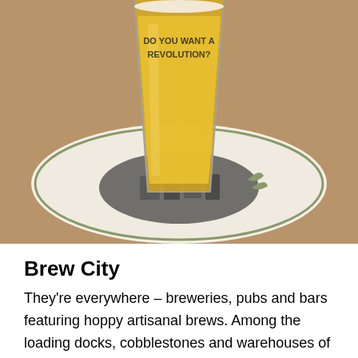[Figure (photo): A close-up photo of a glass of golden beer sitting on a coaster. The glass has text reading 'DO YOU WANT A REVOLUTION?' printed on it. The coaster appears to have a logo/emblem on it.]
Brew City
They're everywhere – breweries, pubs and bars featuring hoppy artisanal brews. Among the loading docks, cobblestones and warehouses of the Pearl District, we check out Rogue Brewery. Rogue's influence is national, with Dead Guy Ale served from Portland to Philadelphia. The bar features a poster-size photo of the former owner posing nude in her bathtub. She will remain over the bar for the life of the pub. Artisanal beers are sold at brew